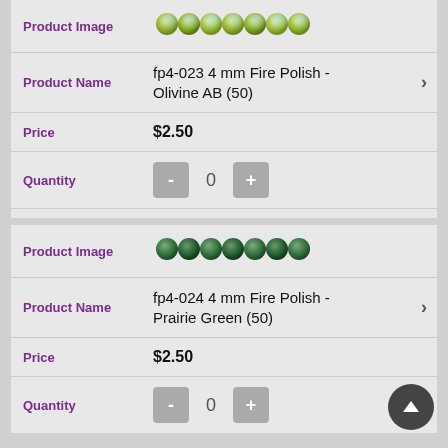[Figure (photo): Row of olive/green AB fire polish beads, 4mm]
Product Image
fp4-023 4 mm Fire Polish - Olivine AB (50)
Product Name
Price
$2.50
Quantity
0
ADD TO CART
[Figure (photo): Row of dark green fire polish beads, 4mm]
Product Image
fp4-024 4 mm Fire Polish - Prairie Green (50)
Product Name
Price
$2.50
Quantity
0